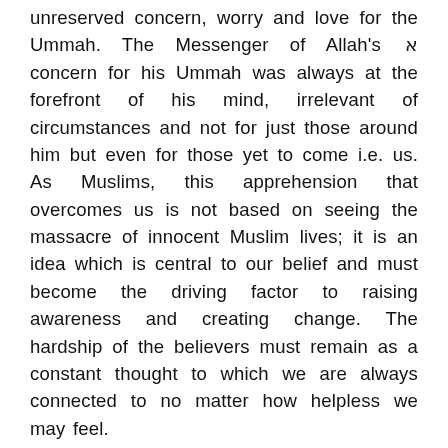unreserved concern, worry and love for the Ummah. The Messenger of Allah's ﷺ concern for his Ummah was always at the forefront of his mind, irrelevant of circumstances and not for just those around him but even for those yet to come i.e. us. As Muslims, this apprehension that overcomes us is not based on seeing the massacre of innocent Muslim lives; it is an idea which is central to our belief and must become the driving factor to raising awareness and creating change. The hardship of the believers must remain as a constant thought to which we are always connected to no matter how helpless we may feel.
The Messenger of Allah ﷺ said: "Allah has given one Dua to every single prophet and every...